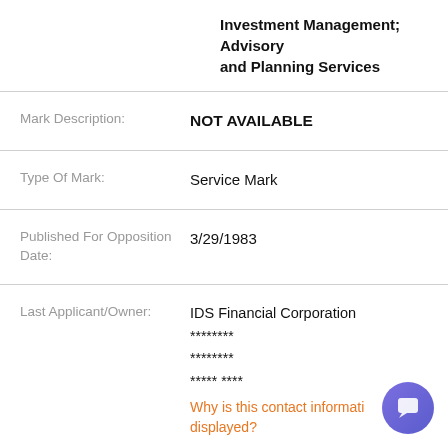Investment Management; Advisory and Planning Services
Mark Description: NOT AVAILABLE
Type Of Mark: Service Mark
Published For Opposition Date: 3/29/1983
Last Applicant/Owner: IDS Financial Corporation ******** ******** ***** **** Why is this contact information displayed?